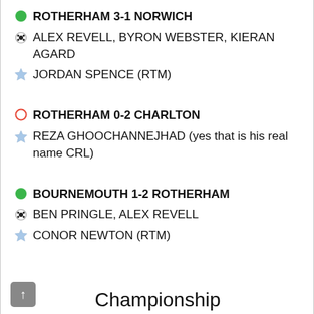ROTHERHAM 3-1 NORWICH
ALEX REVELL, BYRON WEBSTER, KIERAN AGARD
JORDAN SPENCE (RTM)
ROTHERHAM 0-2 CHARLTON
REZA GHOOCHANNEJHAD (yes that is his real name CRL)
BOURNEMOUTH 1-2 ROTHERHAM
BEN PRINGLE, ALEX REVELL
CONOR NEWTON (RTM)
Championship